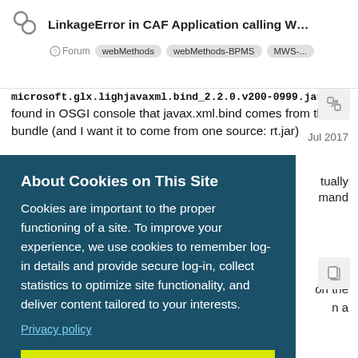LinkageError in CAF Application calling WebS... | Forum | webMethods | webMethods-BPMS | MWS-...
microsoft.glx.lighjavaxml.bind_2.2.0.v200-0999.jar ... found in OSGI console that javax.xml.bind comes from this bundle (and I want it to come from one source: rt.jar)
About Cookies on This Site
Cookies are important to the proper functioning of a site. To improve your experience, we use cookies to remember log-in details and provide secure log-in, collect statistics to optimize site functionality, and deliver content tailored to your interests.
Privacy policy
AGREE AND PROCEED
Jul 2017
tually
mand
one
on the
n a
specific exported version.